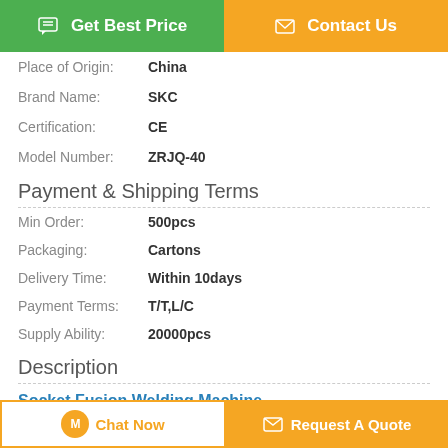[Figure (screenshot): Top navigation buttons: green 'Get Best Price' button and orange 'Contact Us' button]
| Place of Origin: | China |
| Brand Name: | SKC |
| Certification: | CE |
| Model Number: | ZRJQ-40 |
Payment & Shipping Terms
| Min Order: | 500pcs |
| Packaging: | Cartons |
| Delivery Time: | Within 10days |
| Payment Terms: | T/T,L/C |
| Supply Ability: | 20000pcs |
Description
Socket Fusion Welding Machine
[Figure (screenshot): Bottom buttons: orange-outlined 'Chat Now' button and orange 'Request A Quote' button]